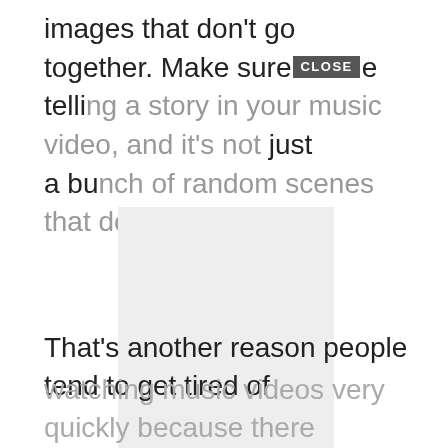images that don't go together. Make sure [CLOSE] e telling a story in your music video, and it's not just a bunch of random scenes that don't go together.
[Figure (photo): A large gray placeholder image block in the middle of the page, representing an embedded image or video thumbnail.]
That's another reason people tend to get tired of watching music videos very quickly because there